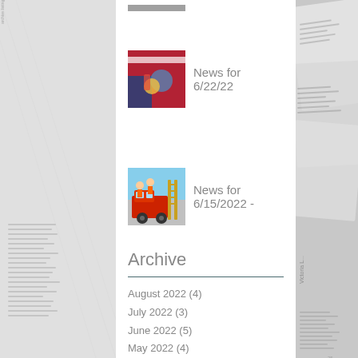[Figure (photo): Thumbnail image at top, partially visible]
News for 6/22/22
News for 6/15/2022 -
Archive
August 2022 (4)
July 2022 (3)
June 2022 (5)
May 2022 (4)